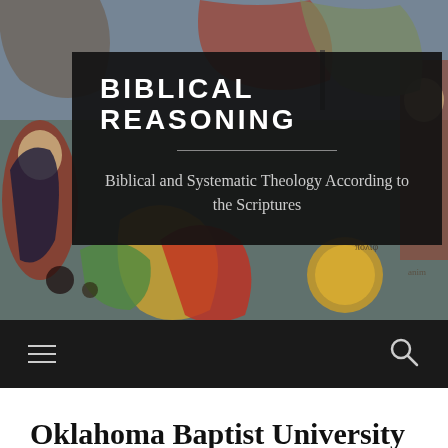[Figure (illustration): Byzantine-style fresco painting showing religious figures with colorful robes, halos, and medieval iconographic style. Serves as background image for the Biblical Reasoning website header.]
BIBLICAL REASONING
Biblical and Systematic Theology According to the Scriptures
Menu | Search
Oklahoma Baptist University at ETS and IBR